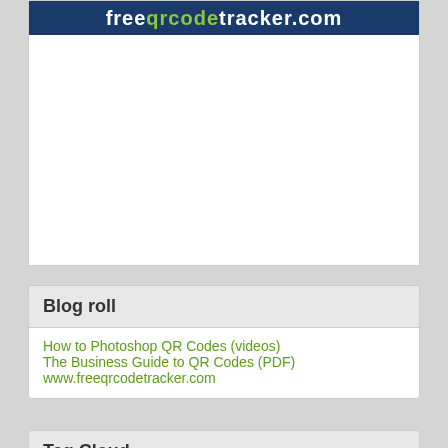[Figure (logo): freeqrcodetracker.com logo — dark navy background with white and green text]
Blog roll
How to Photoshop QR Codes (videos)
The Business Guide to QR Codes (PDF)
www.freeqrcodetracker.com
Tag Cloud